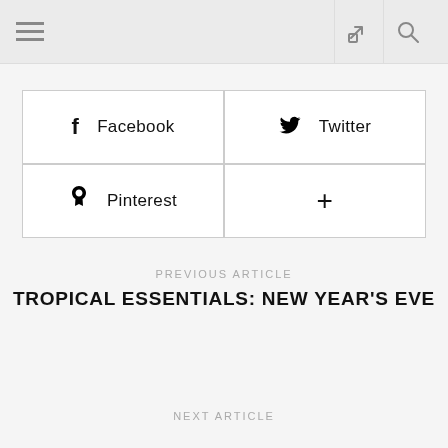Navigation header with menu, share, and search icons
Facebook
Twitter
Pinterest
+
PREVIOUS ARTICLE
TROPICAL ESSENTIALS: NEW YEAR'S EVE
NEXT ARTICLE